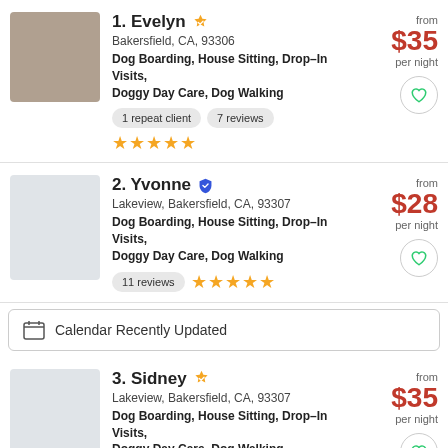1. Evelyn — Bakersfield, CA, 93306 — Dog Boarding, House Sitting, Drop-In Visits, Doggy Day Care, Dog Walking — 1 repeat client, 7 reviews, 5 stars — from $35 per night
2. Yvonne — Lakeview, Bakersfield, CA, 93307 — Dog Boarding, House Sitting, Drop-In Visits, Doggy Day Care, Dog Walking — 11 reviews, 5 stars — from $28 per night
Calendar Recently Updated
3. Sidney — Lakeview, Bakersfield, CA, 93307 — Dog Boarding, House Sitting, Drop-In Visits, Doggy Day Care, Dog Walking — 5 years of experience — from $35 per night